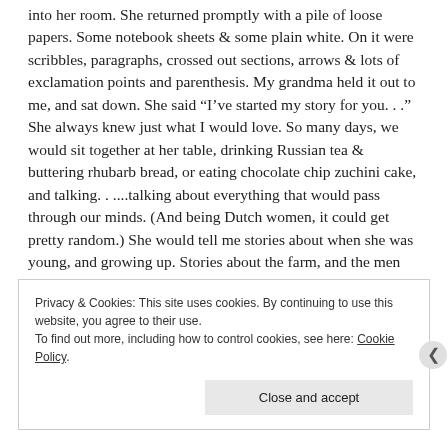into her room. She returned promptly with a pile of loose papers. Some notebook sheets & some plain white. On it were scribbles, paragraphs, crossed out sections, arrows & lots of exclamation points and parenthesis. My grandma held it out to me, and sat down. She said “I’ve started my story for you. . .” She always knew just what I would love. So many days, we would sit together at her table, drinking Russian tea & buttering rhubarb bread, or eating chocolate chip zuchini cake, and talking. . ....talking about everything that would pass through our minds. (And being Dutch women, it could get pretty random.) She would tell me stories about when she was young, and growing up. Stories about the farm, and the men who would milk the cows. I’d ask her about cooking, or how to fix something. When I
Privacy & Cookies: This site uses cookies. By continuing to use this website, you agree to their use. To find out more, including how to control cookies, see here: Cookie Policy
Close and accept